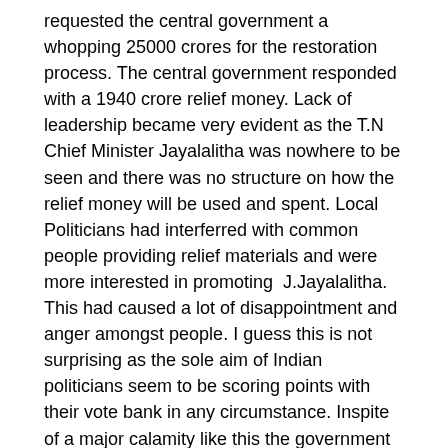requested the central government a whopping 25000 crores for the restoration process. The central government responded with a 1940 crore relief money. Lack of leadership became very evident as the T.N Chief Minister Jayalalitha was nowhere to be seen and there was no structure on how the relief money will be used and spent. Local Politicians had interferred with common people providing relief materials and were more interested in promoting J.Jayalalitha. This had caused a lot of disappointment and anger amongst people. I guess this is not surprising as the sole aim of Indian politicians seem to be scoring points with their vote bank in any circumstance. Inspite of a major calamity like this the government has still not outlined any future plans on how to prevent or respond to a situation like this.
How did Cumbria cope?
In Cumbria an effective state machinery took over the job of rescue efforts by deploying all its services including the army. The government worked out an evacuation and rescue plan to save people who were caught in the floods. Residents of flooded homes were provided alternate accommodation along with other basic needs. Every household which was affected by the floods was given 5000 Pounds for recovery. In the